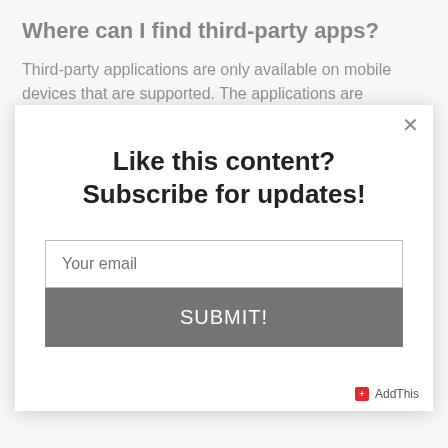Where can I find third-party apps?
Third-party applications are only available on mobile devices that are supported. The applications are
[Figure (screenshot): A modal popup dialog with title 'Like this content? Subscribe for updates!', an email input field with placeholder 'Your email', a gray 'SUBMIT!' button, a close (×) button in the top right corner, and an AddThis logo in the bottom right.]